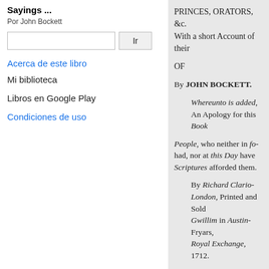Sayings ...
Por John Bockett
Ir (search button)
Acerca de este libro
Mi biblioteca
Libros en Google Play
Condiciones de uso
PRINCES, ORATORS, &c. With a short Account of their
OF
By JOHN BOCKETT.
Whereunto is added, An Apology for this Book
People, who neither in fo- had, nor at this Day have Scriptures afforded them.
By Richard Clario- London, Printed and Sold Gwillim in Austin-Fryars, Royal Exchange, 1712.